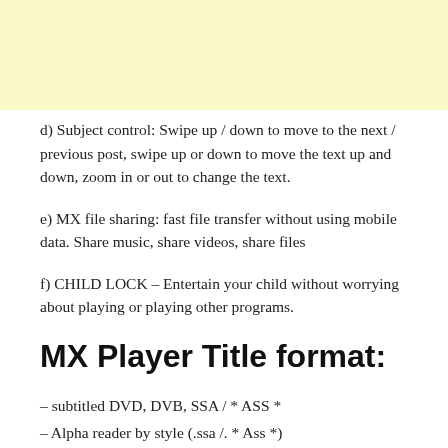d) Subject control: Swipe up / down to move to the next / previous post, swipe up or down to move the text up and down, zoom in or out to change the text.
e) MX file sharing: fast file transfer without using mobile data. Share music, share videos, share files
f) CHILD LOCK – Entertain your child without worrying about playing or playing other programs.
MX Player Title format:
– subtitled DVD, DVB, SSA / * ASS *
– Alpha reader by style (.ssa /. * Ass *)